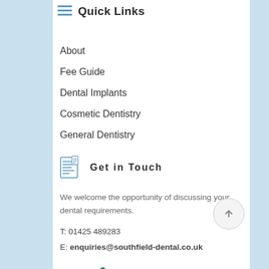Quick Links
About
Fee Guide
Dental Implants
Cosmetic Dentistry
General Dentistry
Get in Touch
We welcome the opportunity of discussing your dental requirements.
T: 01425 489283
E: enquiries@southfield-dental.co.uk
[Figure (logo): Southfield Dental logo with a colourful tree graphic]